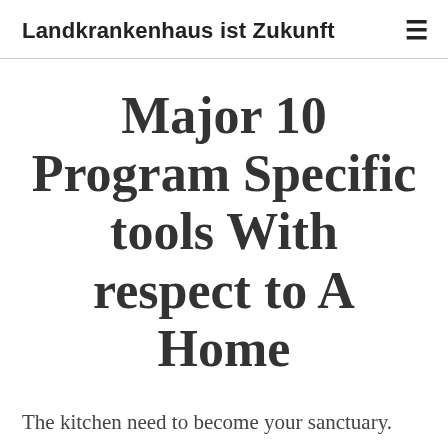Landkrankenhaus ist Zukunft
Major 10 Program Specific tools With respect to A Home
The kitchen need to become your sanctuary. The application www.ideal-skiholidays.com was made to cut all sorts of berry not to mention fruit and vegetables as well as reduce extra fat and fat from meat without having to use all